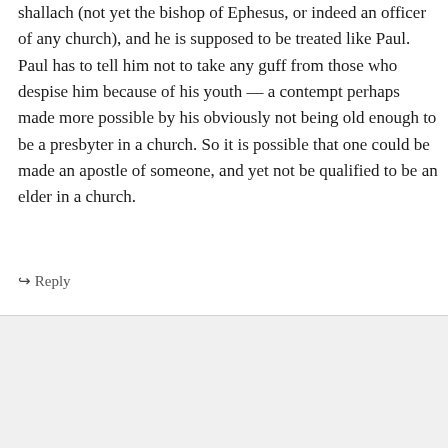shallach (not yet the bishop of Ephesus, or indeed an officer of any church), and he is supposed to be treated like Paul. Paul has to tell him not to take any guff from those who despise him because of his youth — a contempt perhaps made more possible by his obviously not being old enough to be a presbyter in a church. So it is possible that one could be made an apostle of someone, and yet not be qualified to be an elder in a church.
↪ Reply
alastairjroberts on December 10, 2011 at 12:08 pm
Thanks for the comment, Matt.